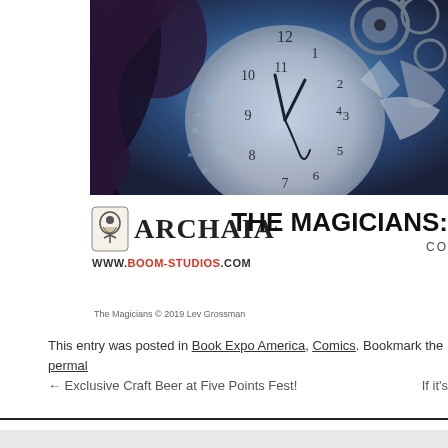[Figure (illustration): Comic book cover art for The Magicians showing a large clock face with Roman numerals, gears and mechanical elements, and a dark flowing figure against a blue-toned background]
[Figure (logo): Archaia publisher logo with stylized face icon and text ARCHAIA with a period, plus WWW.BOOM-STUDIOS.COM URL below]
THE MAGICIANS: CO
The Magicians © 2019 Lev Grossman
This entry was posted in Book Expo America, Comics. Bookmark the permal
← Exclusive Craft Beer at Five Points Fest!
If it's